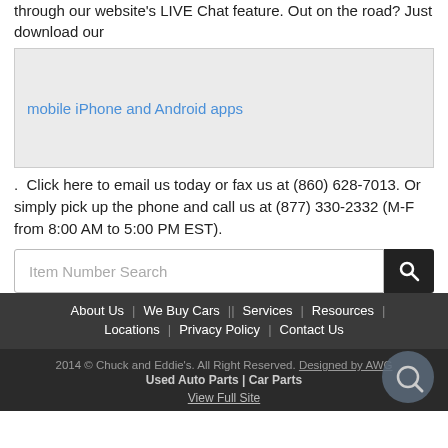through our website's LIVE Chat feature. Out on the road? Just download our
[Figure (screenshot): Gray box containing a blue hyperlink text 'mobile iPhone and Android apps']
.  Click here to email us today or fax us at (860) 628-7013. Or simply pick up the phone and call us at (877) 330-2332 (M-F from 8:00 AM to 5:00 PM EST).
[Figure (other): Search bar with placeholder 'Item Number Search' and a dark search button with magnifying glass icon]
About Us | We Buy Cars | Services | Resources | Locations | Privacy Policy | Contact Us
2014 © Chuck and Eddie's. All Right Reserved. Designed by AWG Used Auto Parts | Car Parts View Full Site